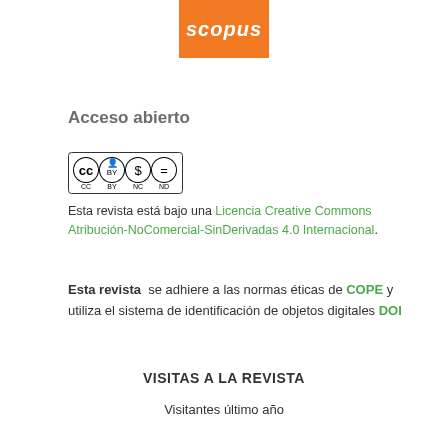[Figure (logo): Scopus logo on orange background]
Acceso abierto
[Figure (logo): Creative Commons BY-NC-ND license badge]
Esta revista está bajo una Licencia Creative Commons Atribución-NoComercial-SinDerivadas 4.0 Internacional.
Esta revista se adhiere a las normas éticas de COPE y utiliza el sistema de identificación de objetos digitales DOI
VISITAS A LA REVISTA
Visitantes último año